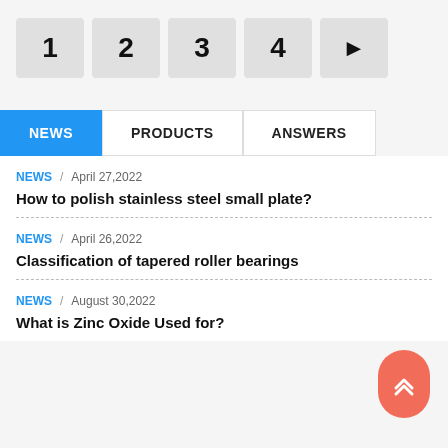[Figure (other): Pagination controls showing page buttons 1, 2, 3, 4 and a right arrow (next page) button]
[Figure (other): Tab navigation with three tabs: NEWS (active, blue background), PRODUCTS, ANSWERS]
NEWS / April 27,2022
How to polish stainless steel small plate?
NEWS / April 26,2022
Classification of tapered roller bearings
NEWS / August 30,2022
What is Zinc Oxide Used for?